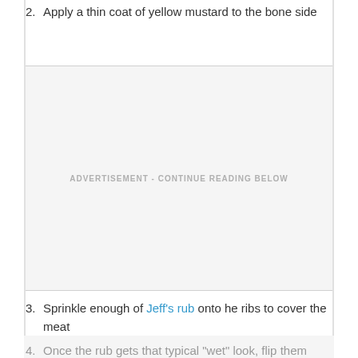2. Apply a thin coat of yellow mustard to the bone side
[Figure (other): Advertisement placeholder box with text 'ADVERTISEMENT - CONTINUE READING BELOW']
3. Sprinkle enough of Jeff's rub onto he ribs to cover the meat
4. Once the rub gets that typical "wet" look, flip them over and repeat the mustard and rub on